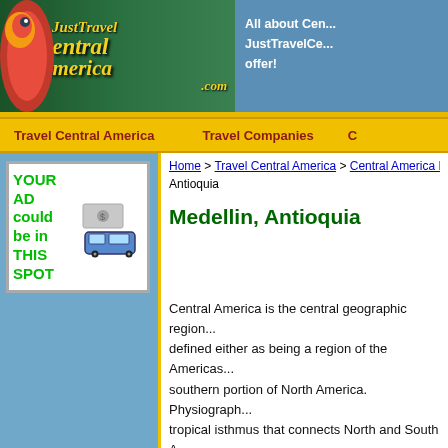JustTravel Central America - All about Central America - JustTravelCentralAmerica.com has it all to offer!
Travel Central America   Travel Companies   C
[Figure (illustration): YOUR AD could be in THIS SPOT advertisement box with image of a van/bus]
Home > Travel Central America > Central America D... Antioquia
Medellin, Antioquia
Central America is the central geographic region... defined either as being a region of the Americas... southern portion of North America. Physiograph... tropical isthmus that connects North and South A... and many small offshore islands. Overall, the lar...